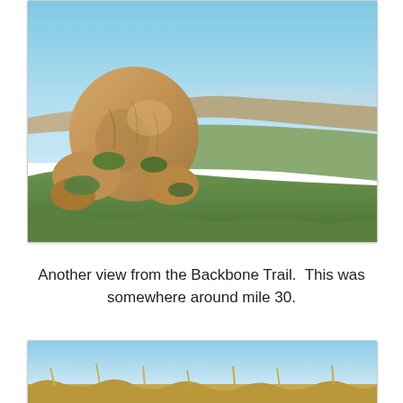[Figure (photo): A large rounded boulder formation on the left foreground with green shrubs below it, overlooking a sweeping valley view with scattered residential development and rolling hills extending to the horizon under a clear blue sky — taken from an elevated trail viewpoint.]
Another view from the Backbone Trail.  This was somewhere around mile 30.
[Figure (photo): Partial view of a second outdoor trail photo showing a clear blue sky at the top and dry golden grasses or brush visible at the bottom, cropped at the page edge.]